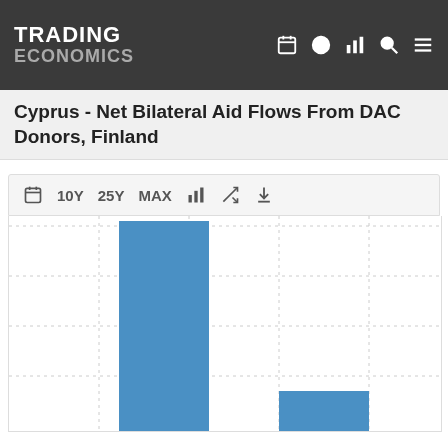TRADING ECONOMICS
Cyprus - Net Bilateral Aid Flows From DAC Donors, Finland
[Figure (bar-chart): Bar chart showing net bilateral aid flows from DAC donors (Finland) to Cyprus. Two bars visible: a tall blue bar and a shorter blue bar. Chart is partially cropped at bottom.]